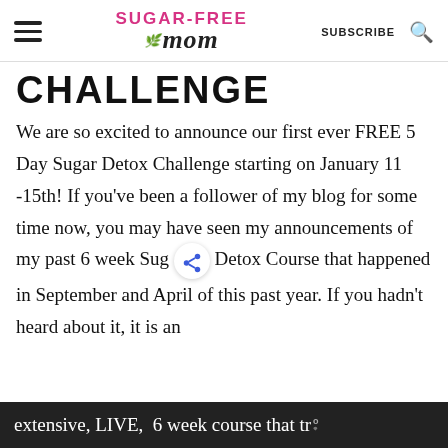SUGAR-FREE MOM | SUBSCRIBE | [search]
CHALLENGE
We are so excited to announce our first ever FREE 5 Day Sugar Detox Challenge starting on January 11 -15th! If you've been a follower of my blog for some time now, you may have seen my announcements of my past 6 week Sug Detox Course that happened in September and April of this past year. If you hadn't heard about it, it is an extensive, LIVE, 6 week course that truly